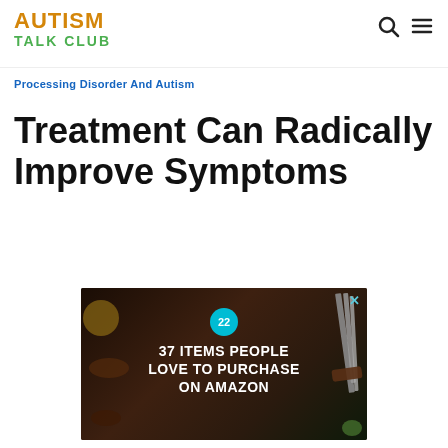AUTISM TALK CLUB
Processing Disorder And Autism
Treatment Can Radically Improve Symptoms
[Figure (screenshot): Advertisement banner showing kitchen knives on dark background with text '22 / 37 ITEMS PEOPLE LOVE TO PURCHASE ON AMAZON' and a close button (X)]